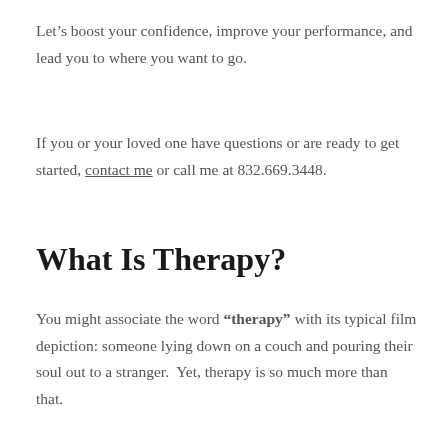Let's boost your confidence, improve your performance, and lead you to where you want to go.
If you or your loved one have questions or are ready to get started, contact me or call me at 832.669.3448.
What Is Therapy?
You might associate the word “therapy” with its typical film depiction: someone lying down on a couch and pouring their soul out to a stranger.  Yet, therapy is so much more than that.